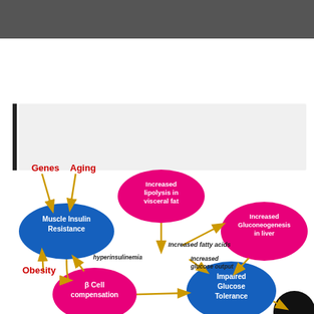[Figure (flowchart): Medical flowchart showing the pathway from Genes, Aging, and Obesity through Muscle Insulin Resistance, increased lipolysis in visceral fat, increased fatty acids, hyperinsulinemia, beta cell compensation, increased gluconeogenesis in liver, increased glucose output, and Impaired Glucose Tolerance. Blue ovals represent key metabolic states, pink/magenta ovals represent contributing processes, red text labels external factors (Genes, Aging, Obesity), and gold arrows show directional relationships. Italic text labels indicate intermediate processes.]